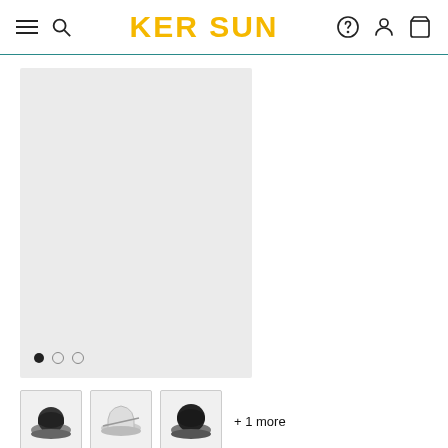KER SUN
[Figure (photo): Large light gray placeholder main product image area with carousel dots (filled, empty, empty) at the bottom left]
[Figure (photo): Three product thumbnail images of the Women's UV Hat UPF 50+ Marina Coolibar (dark hat, light hat with brim up, dark hat from back), plus '+ 1 more' label]
Women's UV Hat UPF 50+ - Marina Coolibar
$49.00